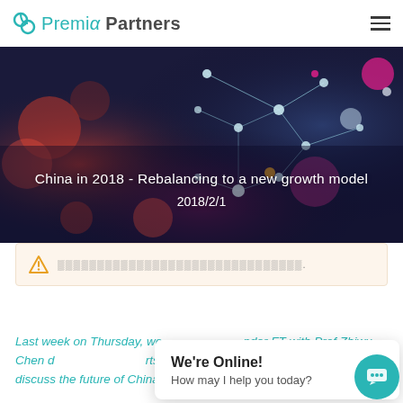Premia Partners
[Figure (photo): Abstract network/molecular visualization with dark blue and red bokeh background - hero banner image for article 'China in 2018 - Rebalancing to a new growth model', dated 2018/2/1]
China in 2018 - Rebalancing to a new growth model
2018/2/1
[Warning banner with garbled/unreadable characters - cookie/subscription notice]
Last week on Thursday, we... [truncated] under FT with Prof Zhiwu Chen d... [truncated] ...discuss the future of China'... [truncated] ...ummit, per